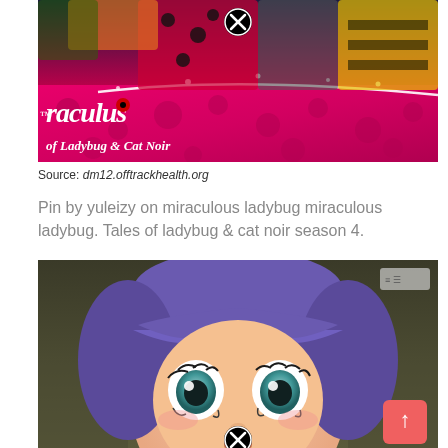[Figure (photo): Miraculous Ladybug animated show promotional image showing characters in superhero costumes with the Miraculous logo and text 'of Ladybug & Cat Noir'. Has a close/X button overlay.]
Source: dm12.offtrackhealth.org
Pin by yuleizy on miraculous ladybug miraculous ladybug. Tales of ladybug & cat noir season 4.
[Figure (photo): Close-up of animated character Marinette from Miraculous Ladybug with wide surprised eyes and purple hair. Has a close/X button overlay and an up-arrow button.]